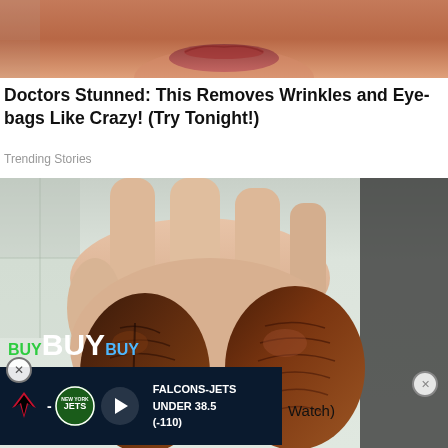[Figure (photo): Close-up of a person's lower face/chin area, skin tones of brown/peach.]
Doctors Stunned: This Removes Wrinkles and Eye-bags Like Crazy! (Try Tonight!)
Trending Stories
[Figure (photo): A hand holding two large dried dates (dark brown wrinkled fruits).]
[Figure (screenshot): Advertisement overlay with BUY BUY BUY text and Falcons-Jets Under 38.5 (-110) sports betting ad with play button.]
Watch)